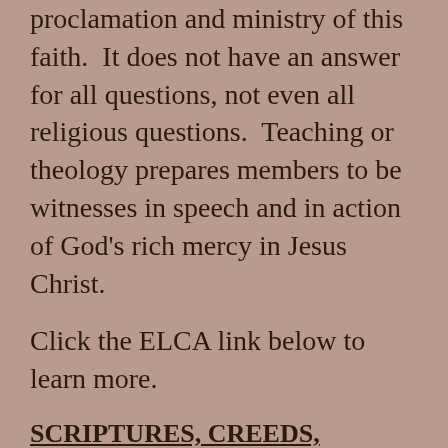proclamation and ministry of this faith.  It does not have an answer for all questions, not even all religious questions.  Teaching or theology prepares members to be witnesses in speech and in action of God's rich mercy in Jesus Christ.
Click the ELCA link below to learn more.
SCRIPTURES, CREEDS, CONFESSIONS
The ELCA's official Confession of Faith identifies the Scriptures of the Old and New Testaments (commonly